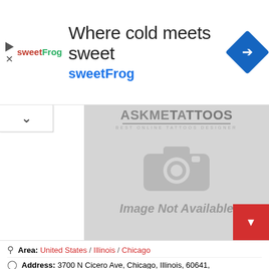[Figure (screenshot): Advertisement banner for sweetFrog frozen yogurt: logo, headline 'Where cold meets sweet', brand name 'sweetFrog', navigation diamond icon]
[Figure (screenshot): AskMeTattoos website screenshot with 'Image Not Available' placeholder showing camera icon, gray background. Red button overlay on right side.]
Area: United States / Illinois / Chicago
Address: 3700 N Cicero Ave, Chicago, Illinois, 60641,